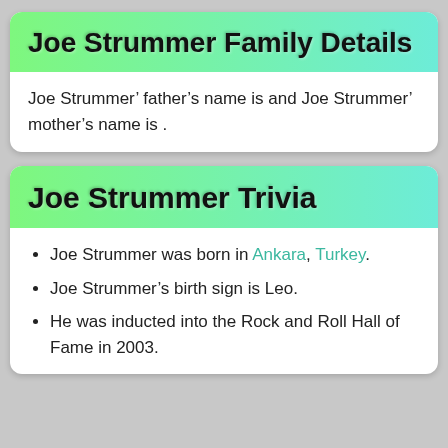Joe Strummer Family Details
Joe Strummer' father’s name is and Joe Strummer' mother’s name is .
Joe Strummer Trivia
Joe Strummer was born in Ankara, Turkey.
Joe Strummer’s birth sign is Leo.
He was inducted into the Rock and Roll Hall of Fame in 2003.